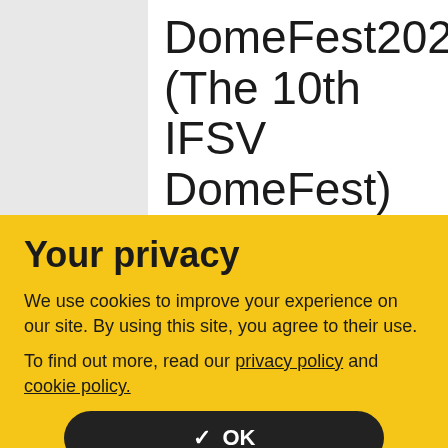DomeFest2020 (The 10th IFSV DomeFest)
Dates ▶Sunday, Feb.16 - Tuesday, Feb.18, 2020
Venue▶Galactic Maruchi
Your privacy
We use cookies to improve your experience on our site. By using this site, you agree to their use.
To find out more, read our privacy policy and cookie policy.